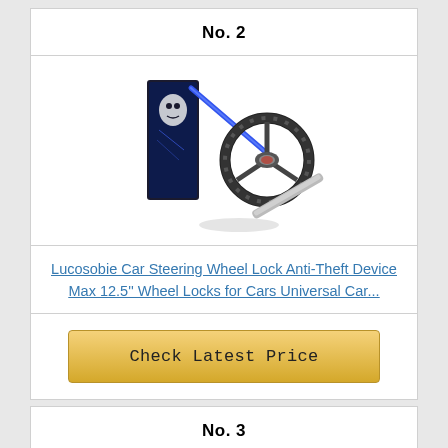No. 2
[Figure (photo): Product photo of Lucosobie Car Steering Wheel Lock Anti-Theft Device with box packaging and a steering wheel with a metal lock bar]
Lucosobie Car Steering Wheel Lock Anti-Theft Device Max 12.5'' Wheel Locks for Cars Universal Car...
Check Latest Price
No. 3